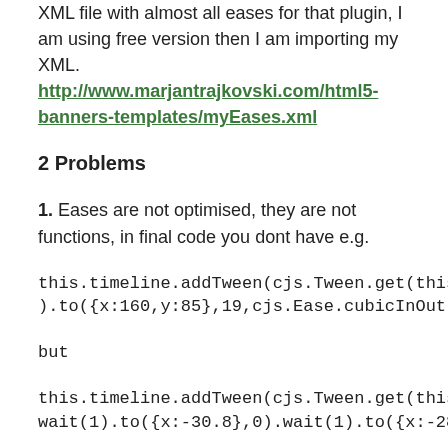XML file with almost all eases for that plugin, I am using free version then I am importing my XML. http://www.marjantrajkovski.com/html5-banners-templates/myEases.xml
2 Problems
1. Eases are not optimised, they are not functions, in final code you dont have e.g.
this.timeline.addTween(cjs.Tween.get(this.instance_1).to({x:160,y:85},19,cjs.Ease.cubicInOut.wait(1));
but
this.timeline.addTween(cjs.Tween.get(this.instance).wait(1).to({x:-30.8},0).wait(1).to({x:-28.6},0).wait(1).t